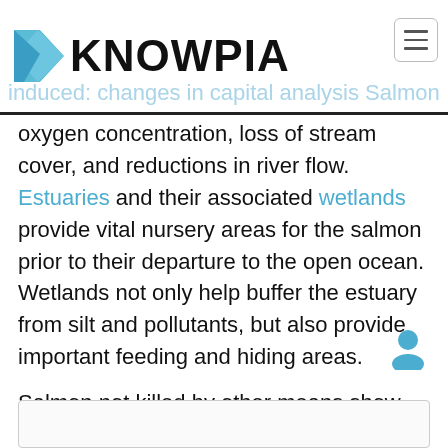KNOWPIA — induced: changes in capital analysis Salmon high water temperatures oxygen concentration, loss of stream cover, and reductions in river flow.
oxygen concentration, loss of stream cover, and reductions in river flow. Estuaries and their associated wetlands provide vital nursery areas for the salmon prior to their departure to the open ocean. Wetlands not only help buffer the estuary from silt and pollutants, but also provide important feeding and hiding areas.
Salmon not killed by other means show greatly accelerated deterioration (phenoptosis, or "programmed aging") at the end of their lives. Their bodies rapidly deteriorate right after they spawn as a result of the release of massive amounts of corticosteroids.